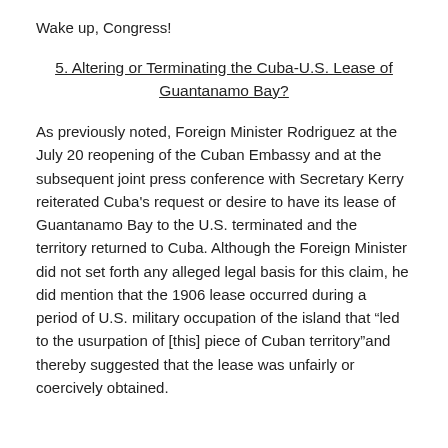Wake up, Congress!
5. Altering or Terminating the Cuba-U.S. Lease of Guantanamo Bay?
As previously noted, Foreign Minister Rodriguez at the July 20 reopening of the Cuban Embassy and at the subsequent joint press conference with Secretary Kerry reiterated Cuba's request or desire to have its lease of Guantanamo Bay to the U.S. terminated and the territory returned to Cuba. Although the Foreign Minister did not set forth any alleged legal basis for this claim, he did mention that the 1906 lease occurred during a period of U.S. military occupation of the island that “led to the usurpation of [this] piece of Cuban territory”and thereby suggested that the lease was unfairly or coercively obtained.